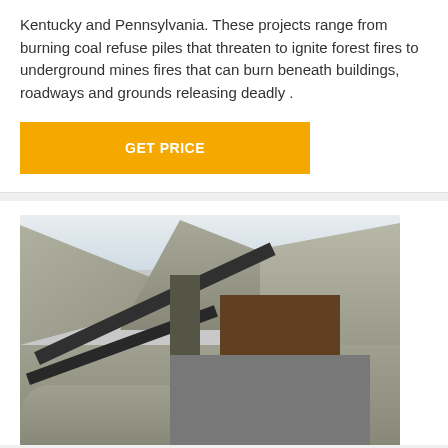Kentucky and Pennsylvania. These projects range from burning coal refuse piles that threaten to ignite forest fires to underground mines fires that can burn beneath buildings, roadways and grounds releasing deadly .
GET PRICE
[Figure (photo): Photograph of a quarry or open-pit mining operation showing industrial crushing machinery with conveyor belts, large mechanical equipment in the foreground, and rocky quarry walls and mountains in the background.]